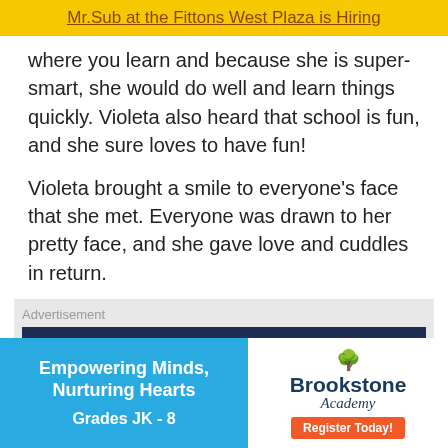Mr.Sub at the Fittons West Plaza is Hiring
where you learn and because she is super-smart, she would do well and learn things quickly. Violeta also heard that school is fun, and she sure loves to have fun!
Violeta brought a smile to everyone’s face that she met. Everyone was drawn to her pretty face, and she gave love and cuddles in return.
[Figure (other): Advertisement banner showing 'Fallen behind on your bills?' text on dark navy background]
[Figure (other): Brookstone Academy advertisement: left side cyan background with 'Empowering Minds, Nurturing Hearts Grades JK - 8', right side white with Brookstone Academy logo and 'Register Today!' orange button]